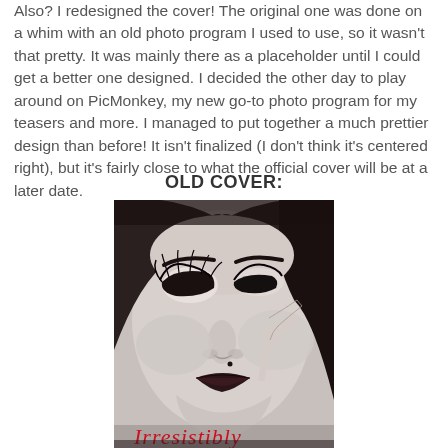Also? I redesigned the cover! The original one was done on a whim with an old photo program I used to use, so it wasn't that pretty. It was mainly there as a placeholder until I could get a better one designed. I decided the other day to play around on PicMonkey, my new go-to photo program for my teasers and more. I managed to put together a much prettier design than before! It isn't finalized (I don't think it's centered right), but it's fairly close to what the official cover will be at a later date.
OLD COVER:
[Figure (photo): Black and white close-up photo of a woman with heavy eye makeup looking down, hand near her face. Red cursive text 'Irresistibly' visible at the bottom. This is a book cover.]